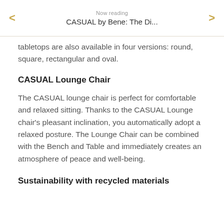Now reading
CASUAL by Bene: The Di...
tabletops are also available in four versions: round, square, rectangular and oval.
CASUAL Lounge Chair
The CASUAL lounge chair is perfect for comfortable and relaxed sitting. Thanks to the CASUAL Lounge chair's pleasant inclination, you automatically adopt a relaxed posture. The Lounge Chair can be combined with the Bench and Table and immediately creates an atmosphere of peace and well-being.
Sustainability with recycled materials